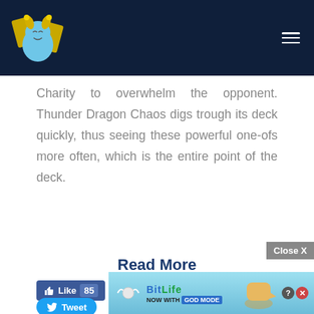Charity to overwhelm the opponent. Thunder Dragon Chaos digs trough its deck quickly, thus seeing these powerful one-ofs more often, which is the entire point of the deck.
Read More
[Figure (other): Facebook Like button with count 85]
[Figure (other): Twitter Tweet button]
3 Comments
[Figure (other): BitLife advertisement banner: NOW WITH GOD MODE, with close X button]